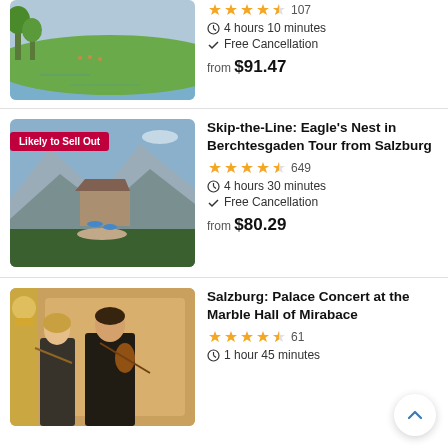[Figure (photo): Top partial listing: riverside park scene with green lawn and water]
107
4 hours 10 minutes
Free Cancellation
from $91.47
[Figure (photo): Eagle's Nest building on mountain top with alpine panorama, 'Likely to Sell Out' badge]
Skip-the-Line: Eagle's Nest in Berchtesgaden Tour from Salzburg
649
4 hours 30 minutes
Free Cancellation
from $80.29
[Figure (photo): Musicians playing violin at Mirabell Palace concert]
Salzburg: Palace Concert at the Marble Hall of Mirabell Palace
61
1 hour 45 minutes